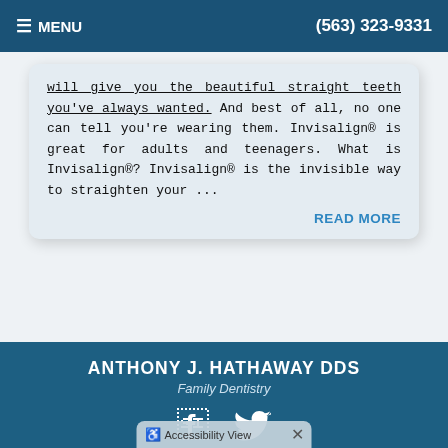MENU | (563) 323-9331
will give you the beautiful straight teeth you've always wanted. And best of all, no one can tell you're wearing them. Invisalign® is great for adults and teenagers. What is Invisalign®? Invisalign® is the invisible way to straighten your ...
READ MORE
ANTHONY J. HATHAWAY DDS
Family Dentistry
[Figure (logo): Facebook and Twitter social media icons in white]
COPYRIGHT © 2022 MH SUB I, LLC DBA OFFICITE.    ADMIN LOG IN    SITE MAP
Accessibility View